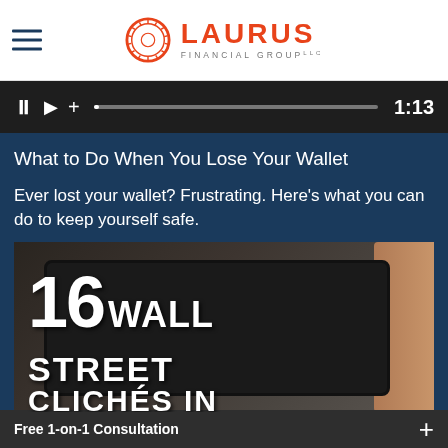LAURUS FINANCIAL GROUP
[Figure (screenshot): Video player bar with pause, play, and plus controls, a progress bar, and a time stamp showing 1:13]
What to Do When You Lose Your Wallet
Ever lost your wallet? Frustrating. Here's what you can do to keep yourself safe.
[Figure (photo): A hand holding a tablet showing '16 WALL STREET CLICHÉS IN' text overlaid on the image]
Free 1-on-1 Consultation